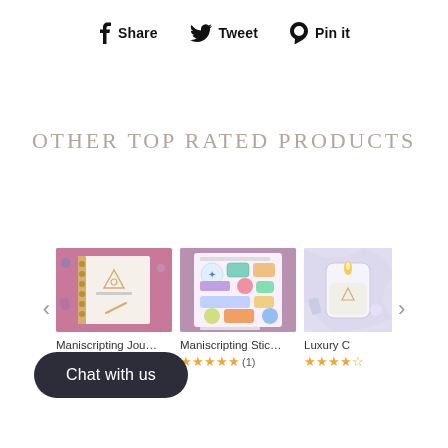Share  Tweet  Pin it
OTHER TOP RATED PRODUCTS
[Figure (photo): Maniscripting Journal product image - spiral notebook with triangle eye logo on pink background with crystals]
Maniscripting Jou…
★★★★☆(15)
[Figure (photo): Maniscripting Stickers product image - sticker sheet with various spiritual/manifestation themed stickers on purple background]
Maniscripting Stic…
★★★★★(1)
[Figure (photo): Luxury Candle product image - glass candle with crystals on light background]
Luxury C
★★★★☆
Chat with us